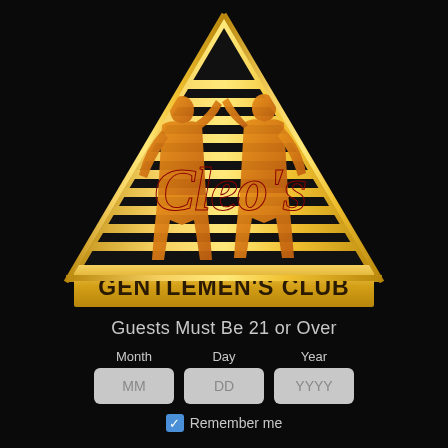[Figure (logo): Cleo's Gentlemen's Club logo: a gold pyramid with horizontal stripes, two female silhouettes in gold/orange, and a red cursive 'Cleo's' text overlay, with 'GENTLEMEN'S CLUB' in dark gold block letters at the base of the pyramid]
Guests Must Be 21 or Over
Month   Day   Year
MM   DD   YYYY
Remember me